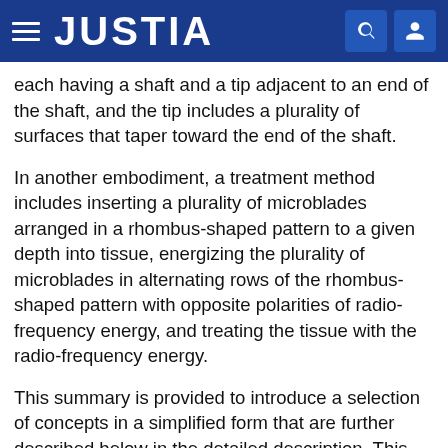JUSTIA
each having a shaft and a tip adjacent to an end of the shaft, and the tip includes a plurality of surfaces that taper toward the end of the shaft.
In another embodiment, a treatment method includes inserting a plurality of microblades arranged in a rhombus-shaped pattern to a given depth into tissue, energizing the plurality of microblades in alternating rows of the rhombus-shaped pattern with opposite polarities of radio-frequency energy, and treating the tissue with the radio-frequency energy.
This summary is provided to introduce a selection of concepts in a simplified form that are further described below in the detailed description. This summary is not intended to identify key features or essential features of the claimed subject matter, nor is it intended to be used